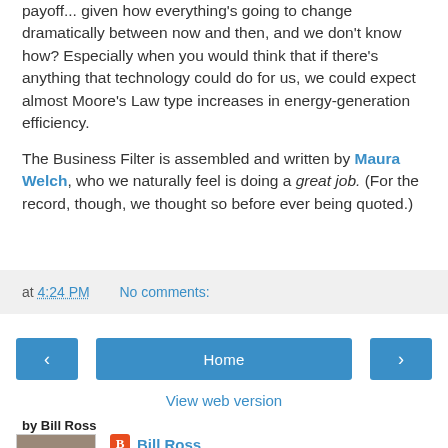payoff... given how everything's going to change dramatically between now and then, and we don't know how? Especially when you would think that if there's anything that technology could do for us, we could expect almost Moore's Law type increases in energy-generation efficiency.
The Business Filter is assembled and written by Maura Welch, who we naturally feel is doing a great job. (For the record, though, we thought so before ever being quoted.)
at 4:24 PM   No comments:
‹  Home  ›
View web version
by Bill Ross
Bill Ross
Hudson Valley, NY